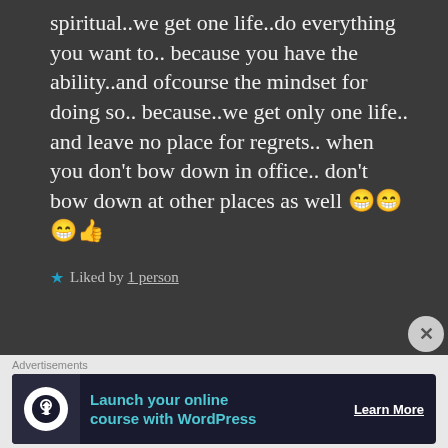spiritual..we get one life..do everything you want to.. because you have the ability..and ofcourse the mindset for doing so.. because..we get only one life.. and leave no place for regrets.. when you don't bow down in office.. don't bow down at other places as well 😁😁😁👍
★ Liked by 1 person
Advertisements
[Figure (infographic): WordPress advertisement banner: icon of person with upward arrow, teal text 'Launch your online course with WordPress', and 'Learn More' button]